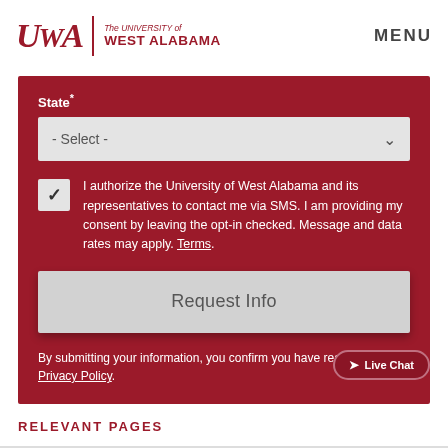[Figure (logo): UWA - The University of West Alabama logo with red text and divider]
MENU
State*
- Select -
I authorize the University of West Alabama and its representatives to contact me via SMS. I am providing my consent by leaving the opt-in checked. Message and data rates may apply. Terms.
Request Info
By submitting your information, you confirm you have read the Privacy Policy.
Live Chat
RELEVANT PAGES